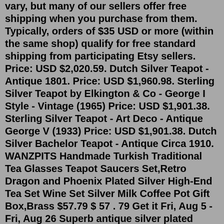vary, but many of our sellers offer free shipping when you purchase from them. Typically, orders of $35 USD or more (within the same shop) qualify for free standard shipping from participating Etsy sellers. Price: USD $2,020.59. Dutch Silver Teapot - Antique 1801. Price: USD $1,960.98. Sterling Silver Teapot by Elkington & Co - George I Style - Vintage (1965) Price: USD $1,901.38. Sterling Silver Teapot - Art Deco - Antique George V (1933) Price: USD $1,901.38. Dutch Silver Bachelor Teapot - Antique Circa 1910. WANZPITS Handmade Turkish Traditional Tea Glasses Teapot Saucers Set,Retro Dragon and Phoenix Plated Silver High-End Tea Set Wine Set Silver Milk Coffee Pot Gift Box,Brass $57.79 $ 57 . 79 Get it Fri, Aug 5 - Fri, Aug 26 Superb antique silver plated Walker & Hall Tea Set: Teapot & Sugar Bowl. VTG. £59.99. Free postage. Large antique silver plated James Dixon & Sons Teapot. Mid 19th century. 1500 ml. £12.99. A top quality Aesthetic Movement silver plated teapot and tray. Measures: Teapot height 5 1/2in. and tray diameter 1 1/2in. Teapot Mid 19th...